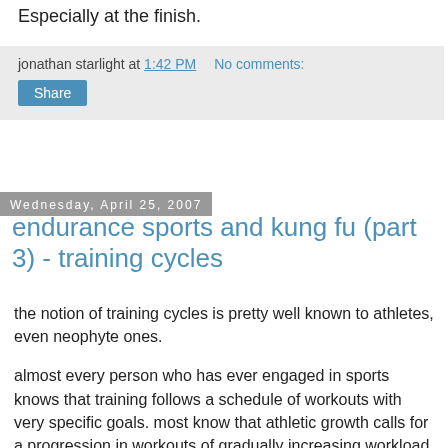Especially at the finish.
jonathan starlight at 1:42 PM   No comments:
Share
Wednesday, April 25, 2007
endurance sports and kung fu (part 3) - training cycles
the notion of training cycles is pretty well known to athletes, even neophyte ones.
almost every person who has ever engaged in sports knows that training follows a schedule of workouts with very specific goals. most know that athletic growth calls for a progression in workouts of gradually increasing workload. a majority know that progression isn't necessarily consistently or constantly increasing (the mathematical term is "monotonically increasing"), but rather follows a rising-and-falling...